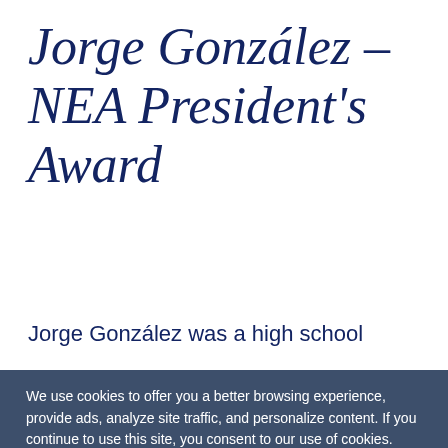Jorge González – NEA President's Award
Jorge González was a high school
We use cookies to offer you a better browsing experience, provide ads, analyze site traffic, and personalize content. If you continue to use this site, you consent to our use of cookies.